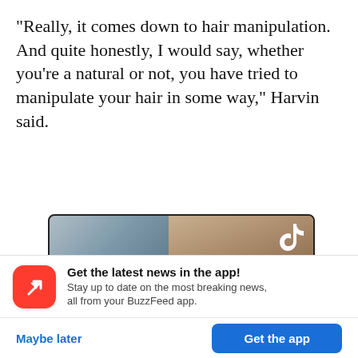“Really, it comes down to hair manipulation. And quite honestly, I would say, whether you're a natural or not, you have tried to manipulate your hair in some way,” Harvin said.
[Figure (screenshot): TikTok video screenshot showing a person wearing a medical mask in what appears to be a medical setting, with a red banner caption reading 'Update on the Gorrilla Glue Hair Situation! (She cut it)' and a TikTok logo in the top right corner.]
Get the latest news in the app! Stay up to date on the most breaking news, all from your BuzzFeed app.
Maybe later
Get the app